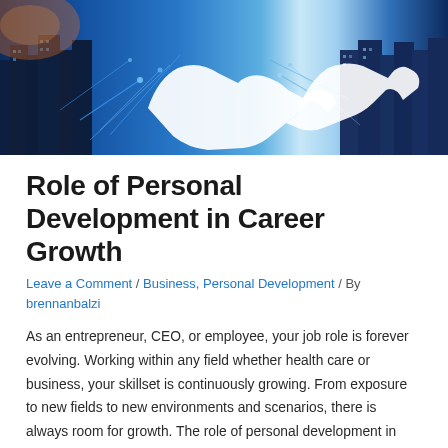[Figure (photo): Hero banner photo showing two business professionals shaking hands with digital network overlay effects and city skyline background in blue tones]
Role of Personal Development in Career Growth
Leave a Comment / Business, Personal Development / By brennanbalzi
As an entrepreneur, CEO, or employee, your job role is forever evolving. Working within any field whether health care or business, your skillset is continuously growing. From exposure to new fields to new environments and scenarios, there is always room for growth. The role of personal development in career growth is important for any successful …